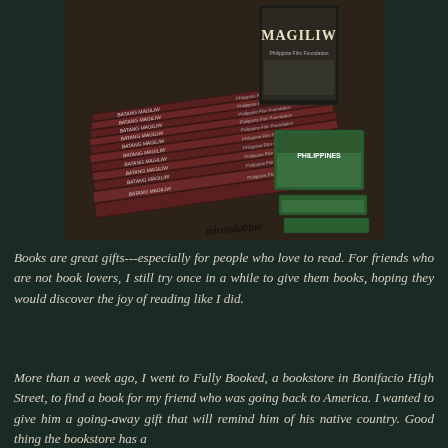[Figure (photo): A stack of 'Batang Magiliw' books piled high at a bookstore display, alongside green-covered Philippines travel books. A watermark 'mirandablue' is visible at the bottom right of the photo.]
Books are great gifts---especially for people who love to read. For friends who are not book lovers, I still try once in a while to give them books, hoping they would discover the joy of reading like I did.
More than a week ago, I went to Fully Booked, a bookstore in Bonifacio High Street, to find a book for my friend who was going back to America. I wanted to give him a going-away gift that will remind him of his native country. Good thing the bookstore has a